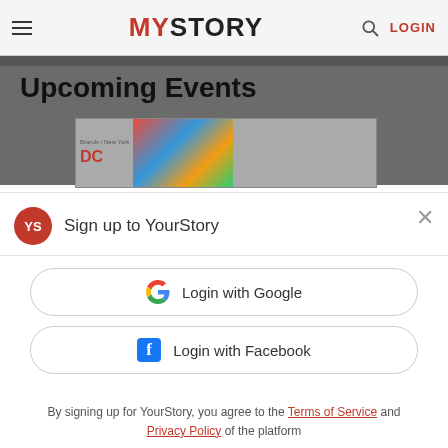MYSTORY   LOGIN
Upcoming Events
[Figure (screenshot): Partial event banner image with colorful illustration]
Sign up to YourStory
Login with Google
Login with Facebook
By signing up for YourStory, you agree to the Terms of Service and Privacy Policy of the platform